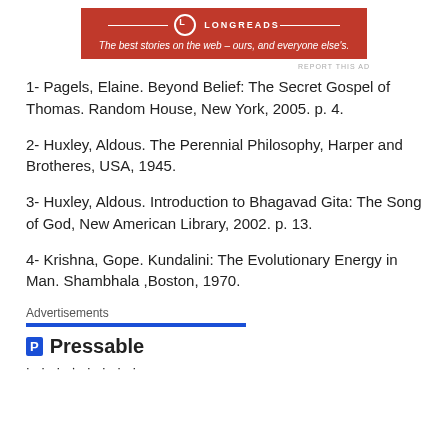[Figure (logo): Longreads banner: red background with logo and tagline 'The best stories on the web – ours, and everyone else's.']
1- Pagels, Elaine. Beyond Belief: The Secret Gospel of Thomas. Random House, New York, 2005. p. 4.
2- Huxley, Aldous. The Perennial Philosophy, Harper and Brotheres, USA, 1945.
3- Huxley, Aldous. Introduction to Bhagavad Gita: The Song of God, New American Library, 2002. p. 13.
4- Krishna, Gope. Kundalini: The Evolutionary Energy in Man. Shambhala ,Boston, 1970.
Advertisements
[Figure (logo): Pressable logo with blue square P icon and bold Pressable text, followed by a row of dots]